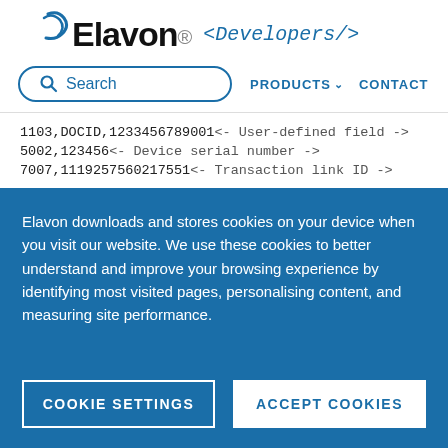[Figure (logo): Elavon logo with stylized blue arc/swoosh above the word Elavon, followed by italic monospace text '<Developers/>']
[Figure (screenshot): Navigation bar with search box (rounded pill with magnifying glass icon and 'Search' text), PRODUCTS dropdown, and CONTACT links in blue]
1103,DOCID,1233456789001<- User-defined field ->
5002,123456<- Device serial number ->
7007,1119257560217551<- Transaction link ID ->
Elavon downloads and stores cookies on your device when you visit our website. We use these cookies to better understand and improve your browsing experience by identifying most visited pages, personalising content, and measuring site performance.
COOKIE SETTINGS
ACCEPT COOKIES